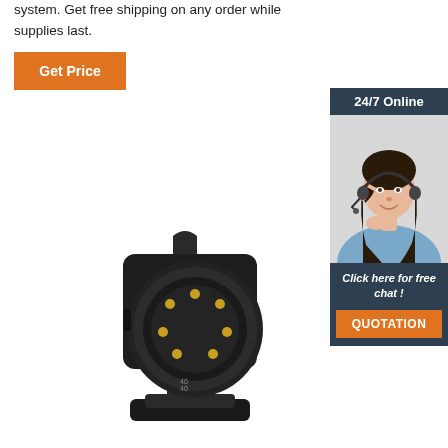system. Get free shipping on any order while supplies last.
Get Price
[Figure (photo): Customer support representative with headset, 24/7 Online service widget with chat and quotation button]
[Figure (photo): Black plastic trailer plug adapter connector with gold pins, 7-pin to 13-pin adapter for trailer lighting systems]